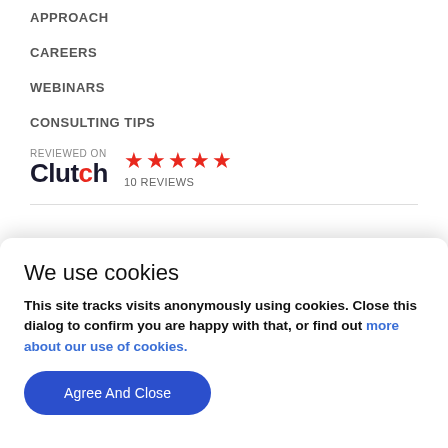APPROACH
CAREERS
WEBINARS
CONSULTING TIPS
[Figure (logo): Reviewed on Clutch badge with 5 red stars and '10 REVIEWS' text]
We use cookies
This site tracks visits anonymously using cookies. Close this dialog to confirm you are happy with that, or find out more about our use of cookies.
Agree And Close